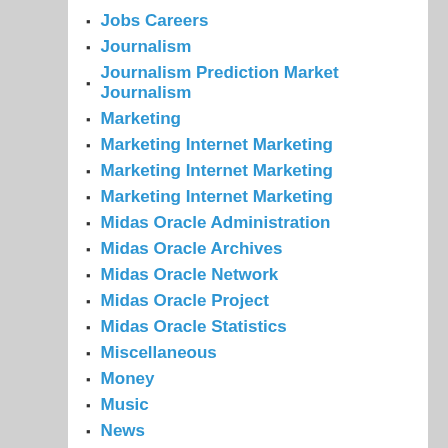Jobs Careers
Journalism
Journalism Prediction Market Journalism
Marketing
Marketing Internet Marketing
Marketing Internet Marketing
Marketing Internet Marketing
Midas Oracle Administration
Midas Oracle Archives
Midas Oracle Network
Midas Oracle Project
Midas Oracle Statistics
Miscellaneous
Money
Music
News
People
Philosophy
Politics
Precognition
Prediction Journalism